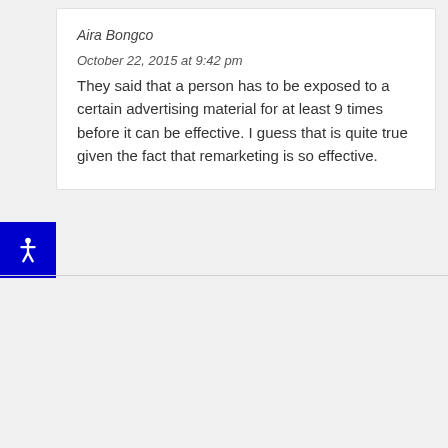Aira Bongco
October 22, 2015 at 9:42 pm
They said that a person has to be exposed to a certain advertising material for at least 9 times before it can be effective. I guess that is quite true given the fact that remarketing is so effective.
[Figure (other): Accessibility icon button — white person figure on dark blue square background]